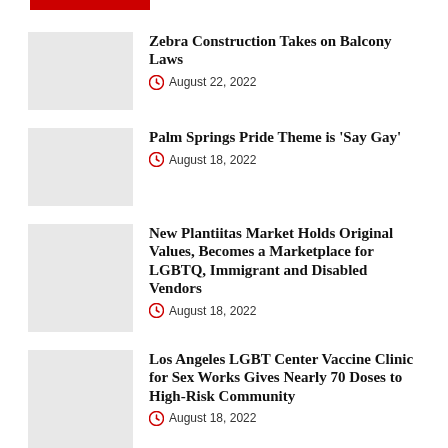[Figure (other): Red horizontal bar at top of page]
Zebra Construction Takes on Balcony Laws — August 22, 2022
Palm Springs Pride Theme is 'Say Gay' — August 18, 2022
New Plantiitas Market Holds Original Values, Becomes a Marketplace for LGBTQ, Immigrant and Disabled Vendors — August 18, 2022
Los Angeles LGBT Center Vaccine Clinic for Sex Works Gives Nearly 70 Doses to High-Risk Community — August 18, 2022